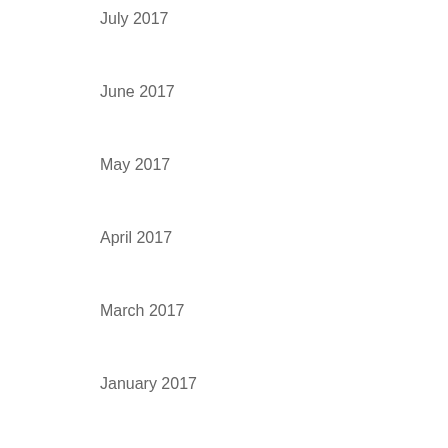July 2017
June 2017
May 2017
April 2017
March 2017
January 2017
Categories
Exclusives
Internal use only
Uncategorized
Meta
Log in
Entries feed